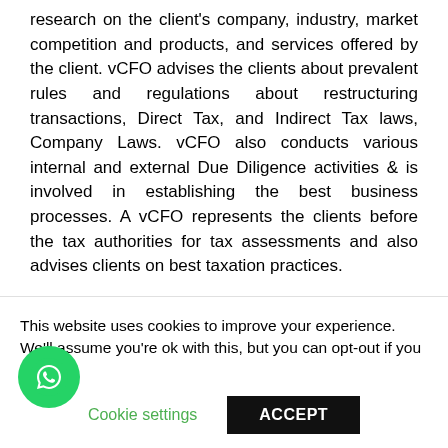research on the client's company, industry, market competition and products, and services offered by the client. vCFO advises the clients about prevalent rules and regulations about restructuring transactions, Direct Tax, and Indirect Tax laws, Company Laws. vCFO also conducts various internal and external Due Diligence activities & is involved in establishing the best business processes. A vCFO represents the clients before the tax authorities for tax assessments and also advises clients on best taxation practices.
Services for MNCs
Due to the growing middle class and huge size of its
This website uses cookies to improve your experience. We'll assume you're ok with this, but you can opt-out if you wish.